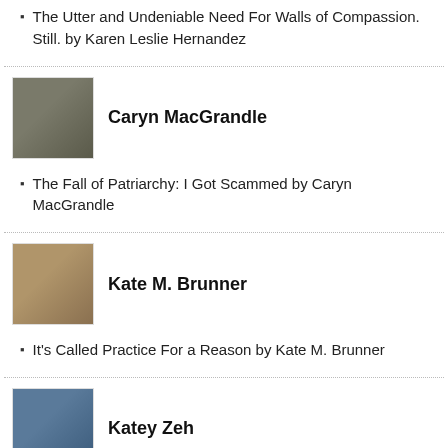The Utter and Undeniable Need For Walls of Compassion. Still. by Karen Leslie Hernandez
[Figure (photo): Photo of Caryn MacGrandle]
Caryn MacGrandle
The Fall of Patriarchy: I Got Scammed by Caryn MacGrandle
[Figure (photo): Photo of Kate M. Brunner]
Kate M. Brunner
It's Called Practice For a Reason by Kate M. Brunner
[Figure (photo): Photo of Katey Zeh]
Katey Zeh
From the Archives: Politicians Make Dangerous Theologians by Katey Zeh
[Figure (photo): Photo of Katie M Deaver]
Katie M Deaver
Double, double… rhymes are trouble by Katie M. Deaver